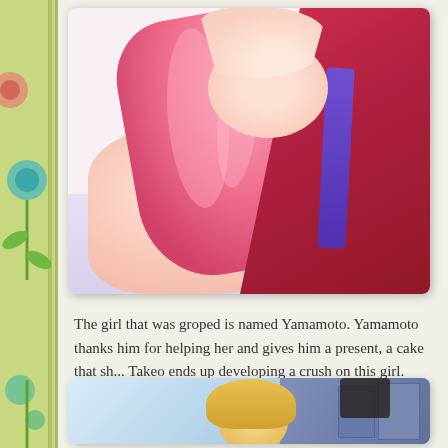[Figure (illustration): Manga/anime illustration of a girl with pink hair wearing a red swimsuit, seated, viewed from side/back angle. Cropped at top and right edges.]
The girl that was groped is named Yamamoto. Yamamoto thanks him for helping her and gives him a present, a cake that sh... Takeo ends up developing a crush on this girl.
[Figure (illustration): Manga/anime illustration of a blonde male character seated, with books and objects visible in the background, partially cropped.]